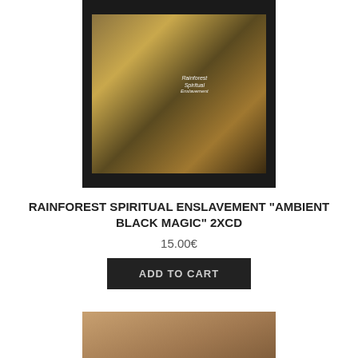[Figure (photo): Album cover for Rainforest Spiritual Enslavement - Ambient Black Magic 2xCD, dark background with golden/brown textured imagery]
RAINFOREST SPIRITUAL ENSLAVEMENT "AMBIENT BLACK MAGIC" 2xCD
15.00€
ADD TO CART
[Figure (photo): Album cover for Encephalophonic - Surgical Mods digipak cd, showing a young woman's face]
ENCEPHALOPHONIC "Surgical Mods" digipak cd
13.00€